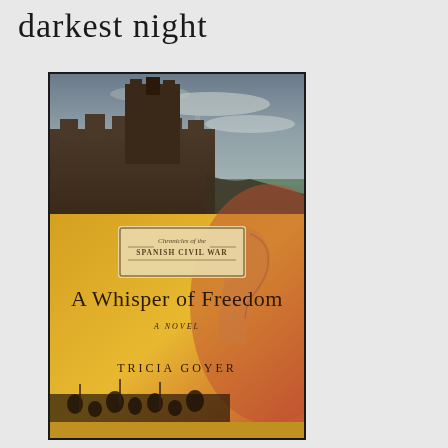darkest night
[Figure (illustration): Book cover of 'A Whisper of Freedom' by Tricia Goyer. Subtitle label reads 'Chronicles of the Spanish Civil War'. The cover features a dark medieval castle/fortress at the top against a stormy sky, with golden/orange tones in the lower half showing a woman's profile and a crowd scene. The title is written in elegant script.]